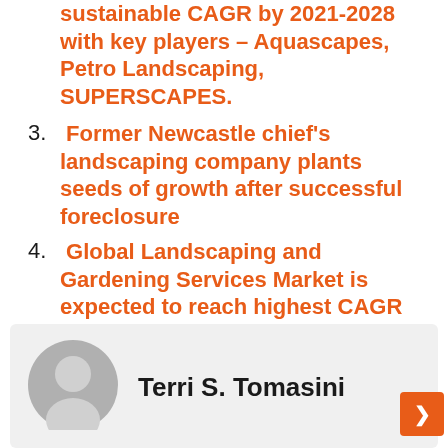sustainable CAGR by 2021-2028 with key players – Aquascapes, Petro Landscaping, SUPERSCAPES.
3. Former Newcastle chief's landscaping company plants seeds of growth after successful foreclosure
4. Global Landscaping and Gardening Services Market is expected to reach highest CAGR by 2026: Yellowstone Landscape, Weed Man USA, US Lawns, TruGreen, ScottsMiracle-Gro, etc.
Terri S. Tomasini